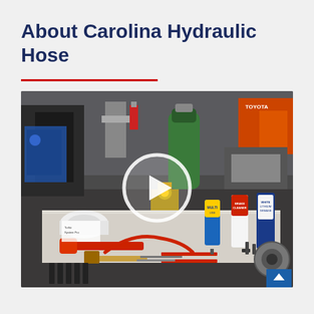About Carolina Hydraulic Hose
[Figure (photo): Workshop photo showing a workbench with various tools and automotive products including wrenches, pliers, hammers, spray cans (brake cleaner, multi-use, white lithium grease), hydraulic hoses, and a green gas cylinder in the background. A Toyota forklift is visible in the background. A circular play button overlay indicates this is a video thumbnail.]